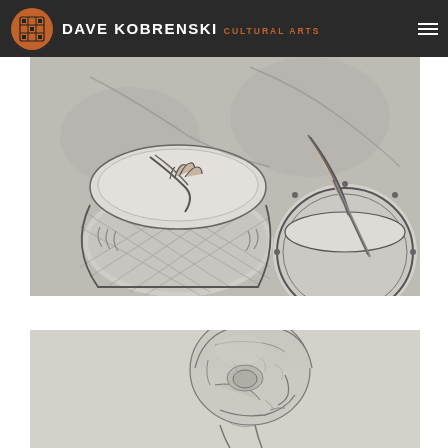DAVE KOBRENSKI CULTURAL ARTS
[Figure (illustration): Pencil sketch illustration showing hands playing drums (djembe and another drum), with detailed cross-hatching and shading on the drum bodies]
[Figure (illustration): Pencil sketch illustration showing a muscular human head and neck in profile/three-quarter view, showing anatomical muscle detail, bald head, looking slightly upward]